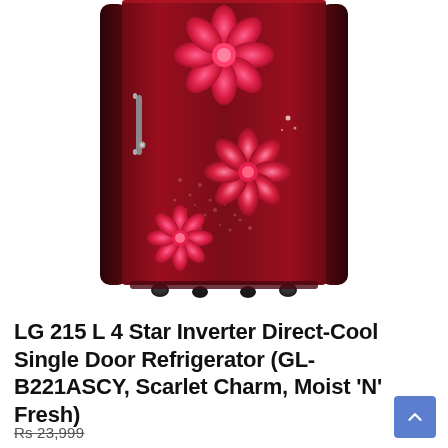[Figure (photo): LG single door refrigerator in Scarlet Charm color with red floral design on a dark maroon background, shown on small black feet/wheels]
LG 215 L 4 Star Inverter Direct-Cool Single Door Refrigerator (GL-B221ASCY, Scarlet Charm, Moist 'N' Fresh)
Rs 23,999